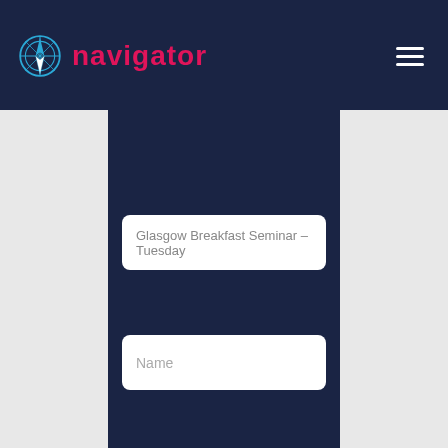navigator
[Figure (screenshot): Web form with dark navy background containing three input fields: 'Glasgow Breakfast Seminar – Tuesday', 'Name', and 'Email']
We use cookies on our website to give you the most relevant experience by remembering your preferences and repeat visits. By clicking "Accept All", you consent to the use of ALL the cookies. However, you may visit "Cookie Settings" to provide a controlled consent.
Cookie Settings  Accept All